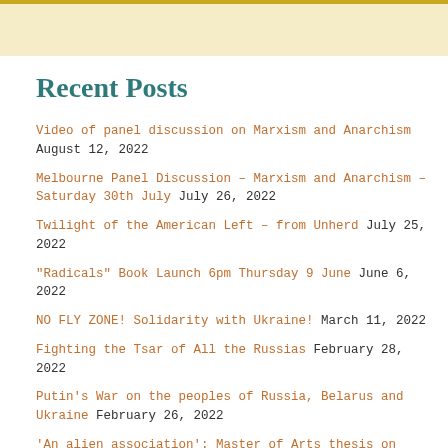Recent Posts
Video of panel discussion on Marxism and Anarchism August 12, 2022
Melbourne Panel Discussion – Marxism and Anarchism – Saturday 30th July July 26, 2022
Twilight of the American Left – from Unherd July 25, 2022
"Radicals" Book Launch 6pm Thursday 9 June June 6, 2022
NO FLY ZONE! Solidarity with Ukraine! March 11, 2022
Fighting the Tsar of All the Russias February 28, 2022
Putin's War on the peoples of Russia, Belarus and Ukraine February 26, 2022
'An alien association': Master of Arts thesis on Maoism and the Communist Party of China 1971-1977 February 8, 2022
Soylent Green and the reactionary Malthusians January 31, 2022